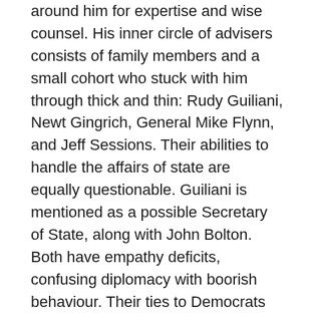around him for expertise and wise counsel. His inner circle of advisers consists of family members and a small cohort who stuck with him through thick and thin: Rudy Guiliani, Newt Gingrich, General Mike Flynn, and Jeff Sessions. Their abilities to handle the affairs of state are equally questionable. Guiliani is mentioned as a possible Secretary of State, along with John Bolton. Both have empathy deficits, confusing diplomacy with boorish behaviour. Their ties to Democrats on Capitol Hill are frayed, to say the least, and would encounter bruising conformation battles. Perhaps better-qualified candidates will come to the fore.
Below the top tier, where all of the diplomacy toward South Asia takes place – except for crisis management – the applicants are a mystery. If the top tier appointments have little standing, recruiting quality help will be extremely challenging.